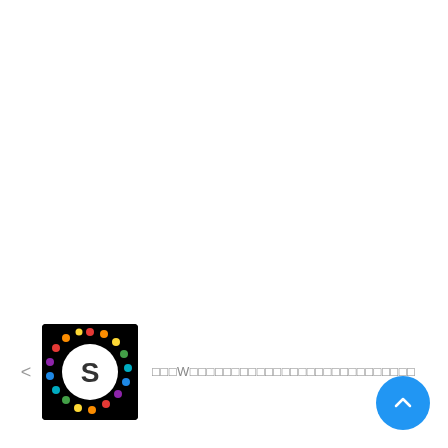[Figure (logo): Thumbnail image of a circular logo with colorful dots around a white circle with a dark S letter on black background]
□□□W□□□□□□□□□□□□□□□□□□□□□□□□□□□
[Figure (other): Blue circular FAB (floating action button) with an upward chevron/arrow icon]